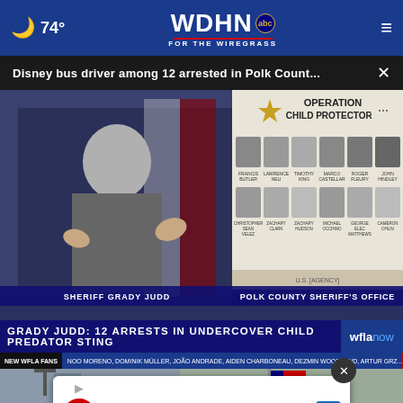74° WDHN ABC FOR THE WIREGRASS
Disney bus driver among 12 arrested in Polk Count...
[Figure (screenshot): News broadcast screenshot showing Sheriff Grady Judd at a press conference with a board displaying Operation Child Protector II with 12 mugshots. Lower third reads: GRADY JUDD: 12 ARRESTS IN UNDERCOVER CHILD PREDATOR STING. wflanow logo visible. Ticker bar with NEW WFLA FANS and names scrolling.]
SHERIFF GRADY JUDD    POLK COUNTY SHERIFF'S OFFICE
GRADY JUDD: 12 ARRESTS IN UNDERCOVER CHILD PREDATOR STING
NEW WFLA FANS  NOO MORENO, DOMINIK MÜLLER, JOÃO ANDRADE, AIDEN CHARBONEAU, DEZMIN WOODLAND, ARTUR GRZ...
[Figure (screenshot): Bottom portion shows a street scene background with an ad overlay. Ad shows: 43/81 Parkhurst Plaza, Ashburn. Get Up To $110 Off a Set of 4. Tire plus auto logo. Blue navigation arrow icon.]